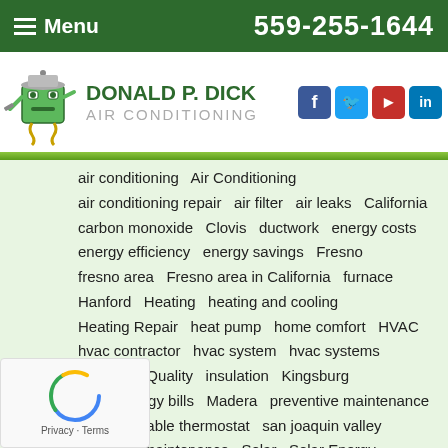Menu   559-255-1644
DONALD P. DICK AIR CONDITIONING
air conditioning   Air Conditioning   air conditioning repair   air filter   air leaks   California   carbon monoxide   Clovis   ductwork   energy costs   energy efficiency   energy savings   Fresno   fresno area   Fresno area in California   furnace   Hanford   Heating   heating and cooling   Heating Repair   heat pump   home comfort   HVAC   hvac contractor   hvac system   hvac systems   Indoor Air Quality   insulation   Kingsburg   lower energy bills   Madera   preventive maintenance   programmable thermostat   san joaquin valley   rvice and maintenance   Solar   Solar Energy   lar panels   thermostat   ventilation   water heater